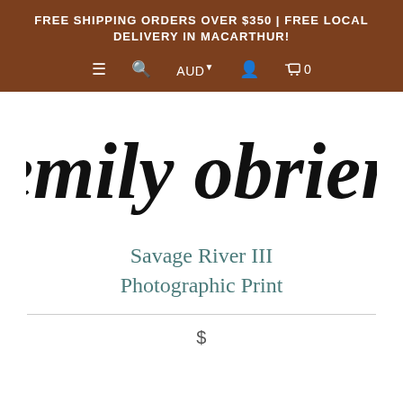FREE SHIPPING ORDERS OVER $350 | FREE LOCAL DELIVERY IN MACARTHUR!
[Figure (logo): Emily O'Brien handwritten brush script logo in black on white background]
Savage River III Photographic Print